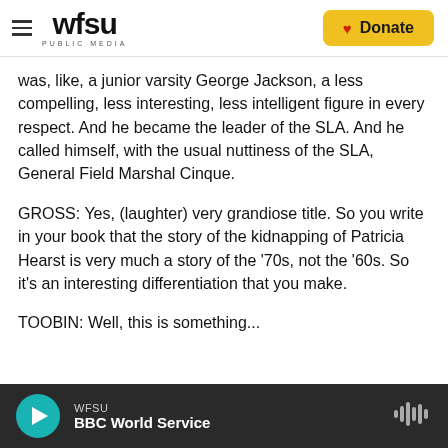WFSU PUBLIC MEDIA — Donate
was, like, a junior varsity George Jackson, a less compelling, less interesting, less intelligent figure in every respect. And he became the leader of the SLA. And he called himself, with the usual nuttiness of the SLA, General Field Marshal Cinque.
GROSS: Yes, (laughter) very grandiose title. So you write in your book that the story of the kidnapping of Patricia Hearst is very much a story of the '70s, not the '60s. So it's an interesting differentiation that you make.
TOOBIN: Well, this is something...
WFSU — BBC World Service